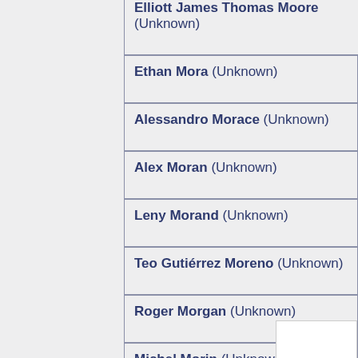Elliott James Thomas Moore (Unknown)
Ethan Mora (Unknown)
Alessandro Morace (Unknown)
Alex Moran (Unknown)
Leny Morand (Unknown)
Teo Gutiérrez Moreno (Unknown)
Roger Morgan (Unknown)
Michel Morin (Unknown)